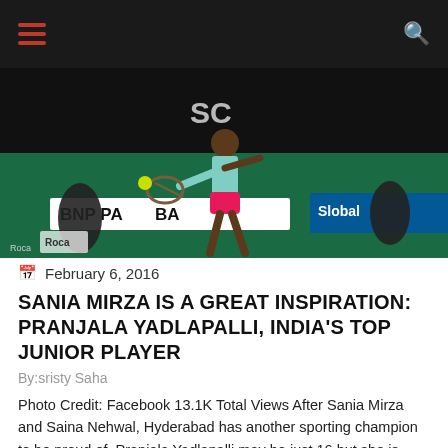Navigation bar with hamburger menu and search icon
[Figure (photo): Tennis player in pink skirt hitting a shot on a tennis court with BNP Paribas branding visible in background]
February 6, 2016
SANIA MIRZA IS A GREAT INSPIRATION: PRANJALA YADLAPALLI, INDIA'S TOP JUNIOR PLAYER
By:sristy Saha
Photo Credit: Facebook 13.1K Total Views After Sania Mirza and Saina Nehwal, Hyderabad has another sporting champion to be proud of. Pranjala Yadlapalli may be just 16 but she is already India's top rated junior tennis player. She is currently ranked 16 in the world junior girl's rankings. Yadalapalli was the tenth seed at the [...]